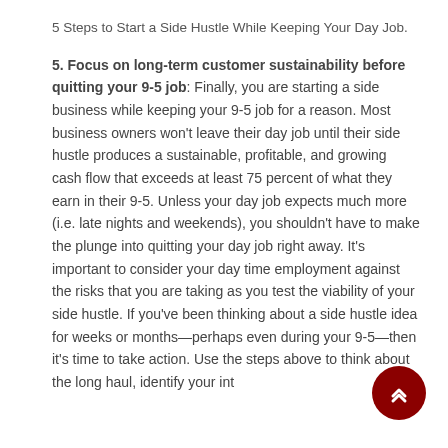5 Steps to Start a Side Hustle While Keeping Your Day Job.
5. Focus on long-term customer sustainability before quitting your 9-5 job: Finally, you are starting a side business while keeping your 9-5 job for a reason. Most business owners won't leave their day job until their side hustle produces a sustainable, profitable, and growing cash flow that exceeds at least 75 percent of what they earn in their 9-5. Unless your day job expects much more (i.e. late nights and weekends), you shouldn't have to make the plunge into quitting your day job right away. It's important to consider your day time employment against the risks that you are taking as you test the viability of your side hustle. If you've been thinking about a side hustle idea for weeks or months—perhaps even during your 9-5—then it's time to take action. Use the steps above to think about the long haul, identify your interests and strengths, validate your idea with a client, set milestones for sustainability and it's the road to your dream.